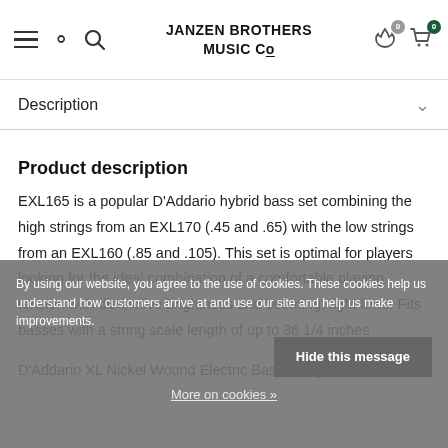JANZEN BROTHERS MUSIC CO
Description
Product description
EXL165 is a popular D'Addario hybrid bass set combining the high strings from an EXL170 (.45 and .65) with the low strings from an EXL160 (.85 and .105). This set is optimal for players looking for the ideal combination of a comfortable playing tension with distinctive brightness and booming, tight lows. Fits basses with a string scale length of up to 36 1/4 inches
D'Addario XL Nickel Wound Electric Bass strings are
By using our website, you agree to the use of cookies. These cookies help us understand how customers arrive at and use our site and help us make improvements.